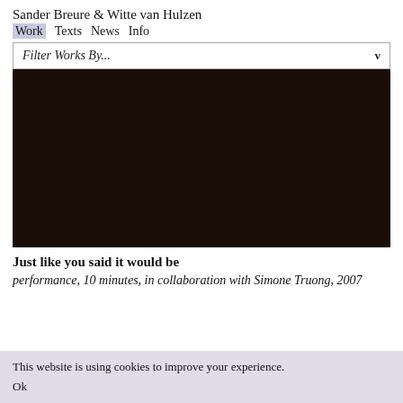Sander Breure & Witte van Hulzen
Work  Texts  News  Info
Filter Works By...
[Figure (photo): Dark brown/black near-black rectangular image area, likely a video still or artwork photograph]
Just like you said it would be
performance, 10 minutes, in collaboration with Simone Truong, 2007
This website is using cookies to improve your experience.
Ok